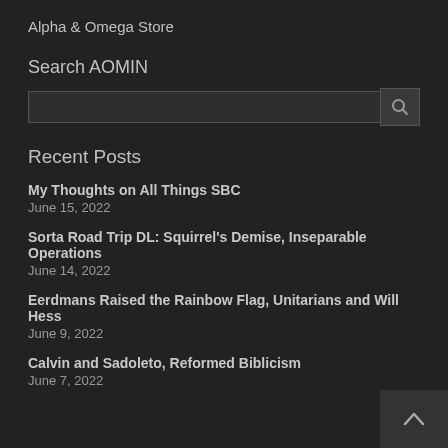Alpha & Omega Store
Search AOMIN
Recent Posts
My Thoughts on All Things SBC
June 15, 2022
Sorta Road Trip DL: Squirrel's Demise, Inseparable Operations
June 14, 2022
Eerdmans Raised the Rainbow Flag, Unitarians and Will Hess
June 9, 2022
Calvin and Sadoleto, Reformed Biblicism
June 7, 2022